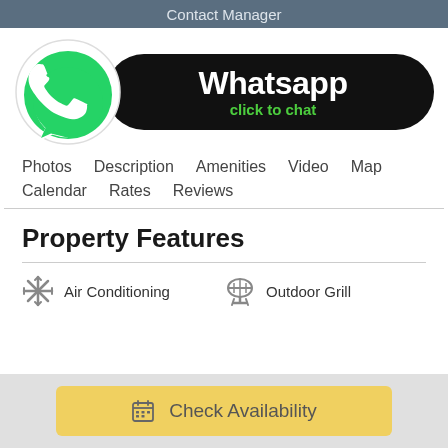Contact Manager
[Figure (logo): WhatsApp logo with green circle and white phone handset icon, next to a black pill-shaped button with 'Whatsapp' in white bold text and 'click to chat' in green text]
Photos   Description   Amenities   Video   Map
Calendar   Rates   Reviews
Property Features
Air Conditioning
Outdoor Grill
Check Availability